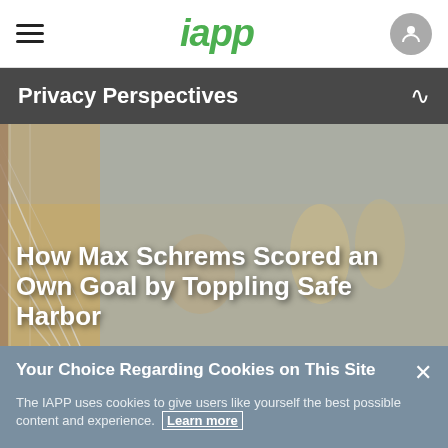iapp
Privacy Perspectives
[Figure (photo): Blurred background photo of a soccer goal net with beach volleyball players in the background]
How Max Schrems Scored an Own Goal by Toppling Safe Harbor
Your Choice Regarding Cookies on This Site
The IAPP uses cookies to give users like yourself the best possible content and experience. Learn more
Manage Cookies
Accept